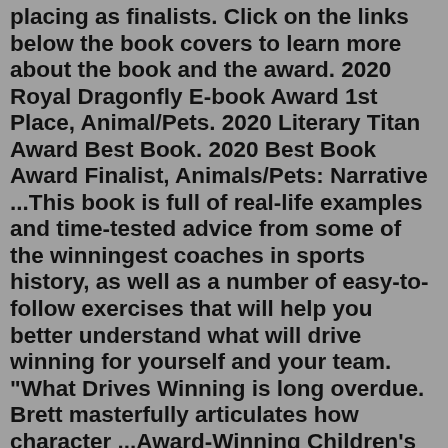placing as finalists. Click on the links below the book covers to learn more about the book and the award. 2020 Royal Dragonfly E-book Award 1st Place, Animal/Pets. 2020 Literary Titan Award Best Book. 2020 Best Book Award Finalist, Animals/Pets: Narrative ...This book is full of real-life examples and time-tested advice from some of the winningest coaches in sports history, as well as a number of easy-to-follow exercises that will help you better understand what will drive winning for yourself and your team. "What Drives Winning is long overdue. Brett masterfully articulates how character ...Award-Winning Children's Books. Dover publishes an irresistible lineup of unforgettable children's book award winners! You'll find Caldecott Medal honorees for the "most distinguished American picture book for children," Newbery Medal and Honors winners by authors "of the most distinguished contribution to American literature for children," as well as ALA Notable Books.BigBookShop - Books that you need. Delivered fresh. Home Search Law Taxation